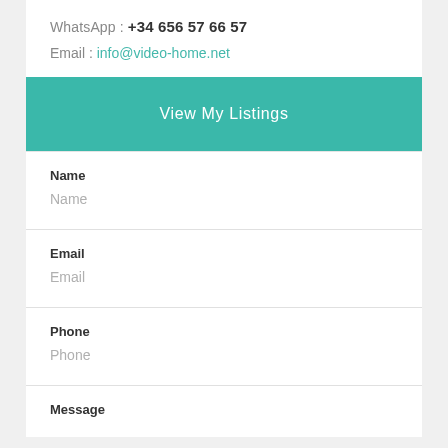WhatsApp : +34 656 57 66 57
Email : info@video-home.net
View My Listings
Name
Name
Email
Email
Phone
Phone
Message